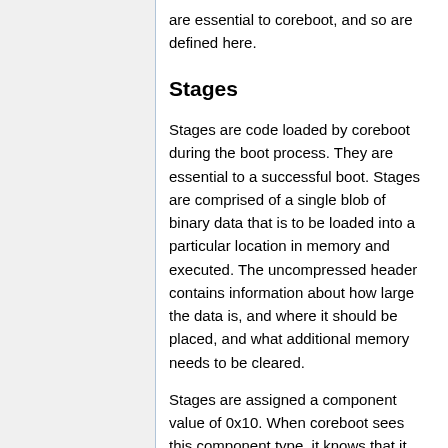are essential to coreboot, and so are defined here.
Stages
Stages are code loaded by coreboot during the boot process. They are essential to a successful boot. Stages are comprised of a single blob of binary data that is to be loaded into a particular location in memory and executed. The uncompressed header contains information about how large the data is, and where it should be placed, and what additional memory needs to be cleared.
Stages are assigned a component value of 0x10. When coreboot sees this component type, it knows that it should pass the data to a sub-function that will process the stage.